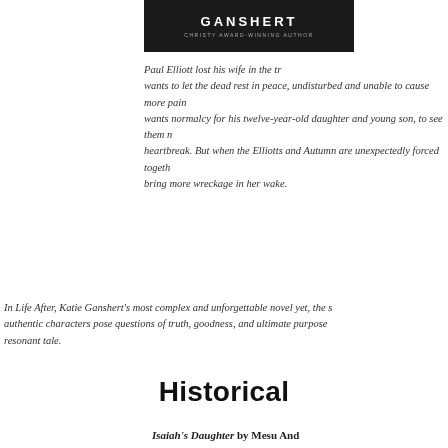[Figure (photo): Dark book cover with text 'GANSHERT' and 'CHRISTY AWARD-WINNING AUTHOR' on dark background]
Paul Elliott lost his wife in the tr... wants to let the dead rest in peace, undisturbed and unable to cause more pain... wants normalcy for his twelve-year-old daughter and young son, to see them r... heartbreak. But when the Elliotts and Autumn are unexpectedly forced togeth... bring more wreckage in her wake.
In Life After, Katie Ganshert’s most complex and unforgettable novel yet, the s... authentic characters pose questions of truth, goodness, and ultimate purpose... resonant tale.
Historical
Isaiah’s Daughter by Mesu And...
In this epic Biblical narrative, id... Bible miniseries, a young woman... prophet Isaiah’s household rises... the future king.
Isaiah adopts Ishma, giving her a... delight of the Lord–thereby ensur...
[Figure (photo): Book cover for Isaiah's Daughter by Mesu Andrews, showing a woman from behind with braided hair against a misty background, with red and white lettering]